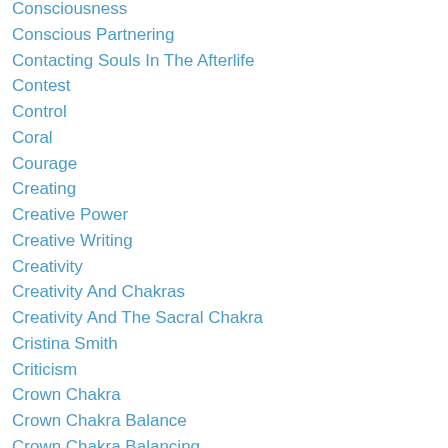Consciousness
Conscious Partnering
Contacting Souls In The Afterlife
Contest
Control
Coral
Courage
Creating
Creative Power
Creative Writing
Creativity
Creativity And Chakras
Creativity And The Sacral Chakra
Cristina Smith
Criticism
Crown Chakra
Crown Chakra Balance
Crown Chakra Balancing
Crown Chakra Color
Crown Chakra Meditation
Crown Chakra Yoga Poses